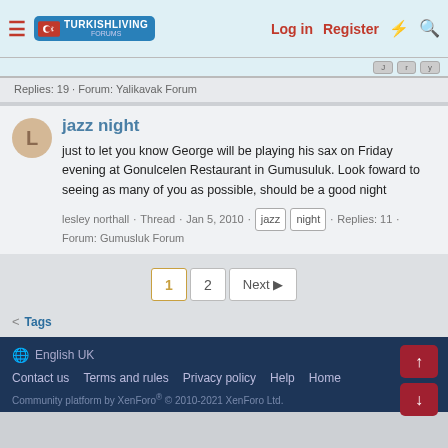TurkishLiving Forums — Log in | Register
Replies: 19 · Forum: Yalikavak Forum
jazz night
just to let you know George will be playing his sax on Friday evening at Gonulcelen Restaurant in Gumusuluk. Look foward to seeing as many of you as possible, should be a good night
lesley northall · Thread · Jan 5, 2010 · jazz night · Replies: 11 · Forum: Gumusluk Forum
1  2  Next
< Tags
English UK
Contact us  Terms and rules  Privacy policy  Help  Home
Community platform by XenForo® © 2010-2021 XenForo Ltd.